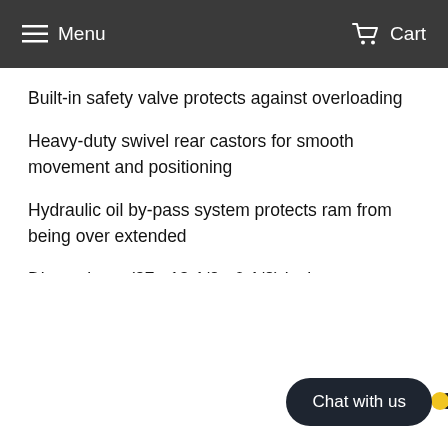Menu   Cart
Built-in safety valve protects against overloading
Heavy-duty swivel rear castors for smooth movement and positioning
Hydraulic oil by-pass system protects ram from being over extended
Dimensions: (27× 13-1/2× 6-1/8) inches
[Figure (photo): Bottom portion of a hydraulic floor jack handle/ram, black metal rod with yellow-tipped end visible against white background, with a dark chat widget button reading 'Chat with us']